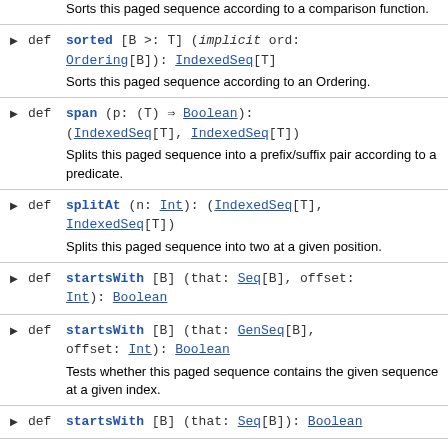Sorts this paged sequence according to a comparison function.
def sorted [B >: T] (implicit ord: Ordering[B]): IndexedSeq[T]
Sorts this paged sequence according to an Ordering.
def span (p: (T) => Boolean): (IndexedSeq[T], IndexedSeq[T])
Splits this paged sequence into a prefix/suffix pair according to a predicate.
def splitAt (n: Int): (IndexedSeq[T], IndexedSeq[T])
Splits this paged sequence into two at a given position.
def startsWith [B] (that: Seq[B], offset: Int): Boolean
def startsWith [B] (that: GenSeq[B], offset: Int): Boolean
Tests whether this paged sequence contains the given sequence at a given index.
def startsWith [B] (that: Seq[B]): Boolean
def startsWith [B] (that: GenSeq[B]):